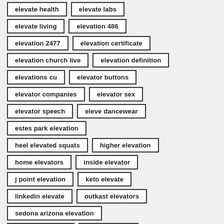elevate health
elevate labs
elevate living
elevation 486
elevation 2477
elevation certificate
elevation church live
elevation definition
elevations cu
elevator buttons
elevator companies
elevator sex
elevator speech
eleve dancewear
estes park elevation
heel elevated squats
higher elevation
home elevators
inside elevator
j point elevation
keto elevate
linkedin elevate
outkast elevators
sedona arizona elevation
stair lift elevator
station eleven